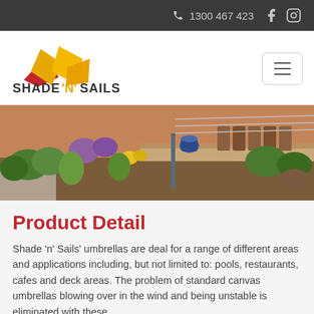1300 467 423
[Figure (logo): Shade 'N' Sails logo with red and yellow/orange diamond kite shapes above the brand name SHADE 'N' SAILS in bold dark text]
[Figure (photo): Outdoor garden landscape with colorful flowers, gravel path, wooden deck with a blue pot and outdoor furniture in the background]
Product Detail
Shade 'n' Sails' umbrellas are deal for a range of different areas and applications including, but not limited to: pools, restaurants, cafes and deck areas. The problem of standard canvas umbrellas blowing over in the wind and being unstable is eliminated with these